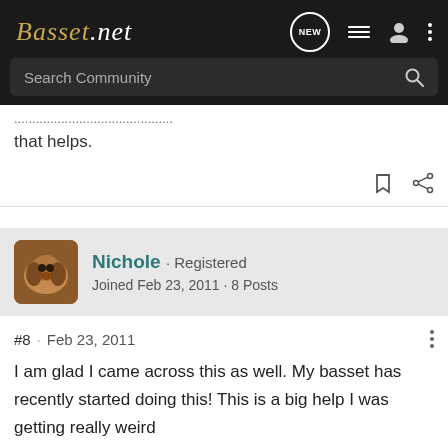Basset.net - Search Community
that helps.
Nichole · Registered
Joined Feb 23, 2011 · 8 Posts
#8 · Feb 23, 2011
I am glad I came across this as well. My basset has recently started doing this! This is a big help I was getting really weird